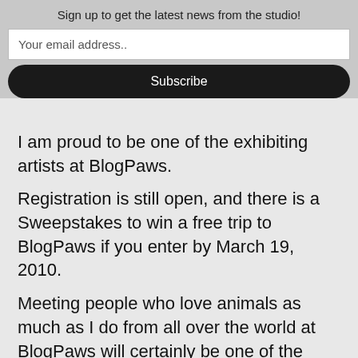Sign up to get the latest news from the studio!
Your email address..
Subscribe
I am proud to be one of the exhibiting artists at BlogPaws.
Registration is still open, and there is a Sweepstakes to win a free trip to BlogPaws if you enter by March 19, 2010.
Meeting people who love animals as much as I do from all over the world at BlogPaws will certainly be one of the highlights of my year.
I hope to see you there!